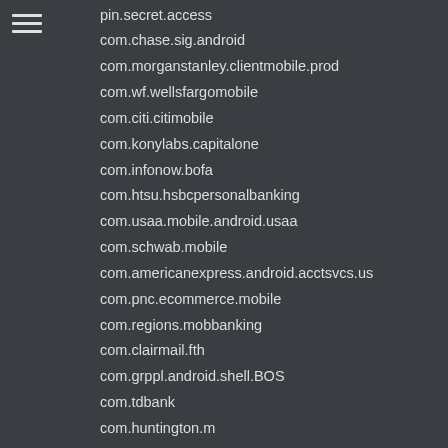[Figure (other): Hamburger menu icon (three horizontal lines)]
pin.secret.access
com.chase.sig.android
com.morganstanley.clientmobile.prod
com.wf.wellsfargomobile
com.citi.citimobile
com.konylabs.capitalone
com.infonow.bofa
com.htsu.hsbcpersonalbanking
com.usaa.mobile.android.usaa
com.schwab.mobile
com.americanexpress.android.acctsvcs.us
com.pnc.ecommerce.mobile
com.regions.mobbanking
com.clairmail.fth
com.grppl.android.shell.BOS
com.tdbank
com.huntington.m
com.citizensbank.androidapp
com.usbank.mobilebanking
com.ally.MobileBanking